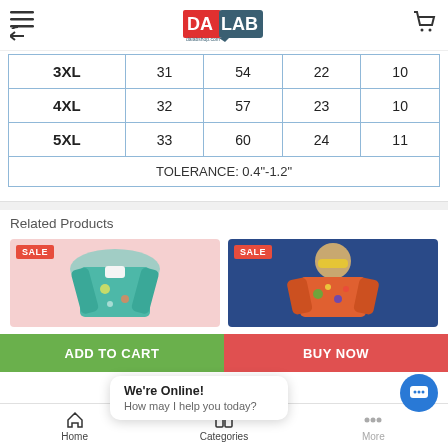DALAB dalabshop.com
| 3XL | 31 | 54 | 22 | 10 |
| 4XL | 32 | 57 | 23 | 10 |
| 5XL | 33 | 60 | 24 | 11 |
| TOLERANCE: 0.4"-1.2" |  |  |  |  |
Related Products
[Figure (photo): Tropical Hawaiian shirt product photo with SALE badge, pink background]
[Figure (photo): Colorful Hawaiian shirt product photo with SALE badge, blue background]
ADD TO CART
BUY NOW
We're Online! How may I help you today?
Home   Categories   More